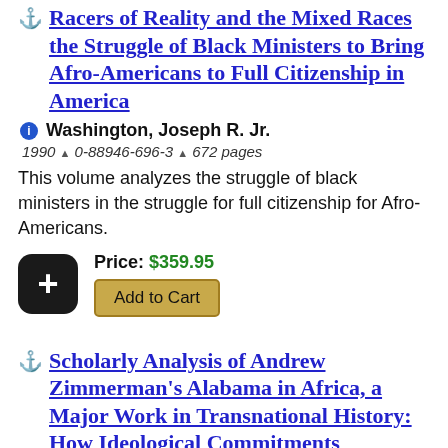Racers of Reality and the Mixed Races the Struggle of Black Ministers to Bring Afro-Americans to Full Citizenship in America
Washington, Joseph R. Jr.
1990 ▲ 0-88946-696-3 ▲ 672 pages
This volume analyzes the struggle of black ministers in the struggle for full citizenship for Afro-Americans.
Price: $359.95
Add to Cart
Scholarly Analysis of Andrew Zimmerman's Alabama in Africa, a Major Work in Transnational History: How Ideological Commitments Compare...